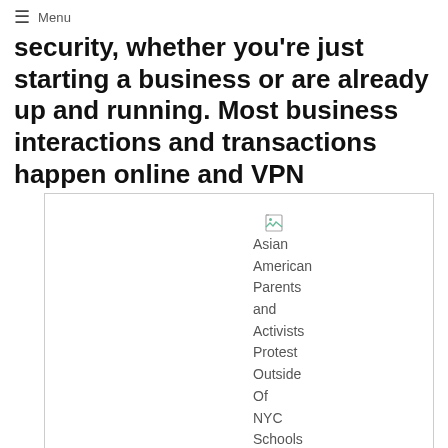≡ Menu
security, whether you're just starting a business or are already up and running. Most business interactions and transactions happen online and VPN
[Figure (photo): Broken image placeholder with alt text: Asian American Parents and Activists Protest Outside Of NYC Schools Chancellor's]